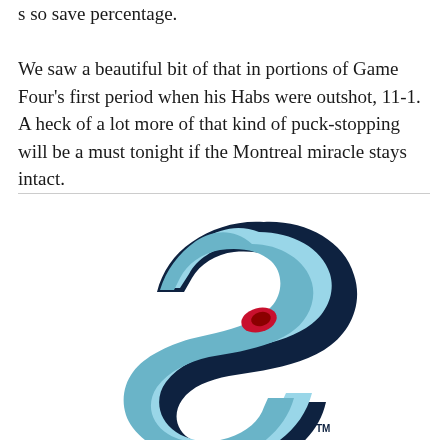s so save percentage. We saw a beautiful bit of that in portions of Game Four's first period when his Habs were outshot, 11-1. A heck of a lot more of that kind of puck-stopping will be a must tonight if the Montreal miracle stays intact.
[Figure (logo): Seattle Kraken NHL team logo — a stylized S shape rendered in dark navy outline with light blue and medium blue wave-like stripes, featuring a red eye detail, with a TM mark at the bottom right.]